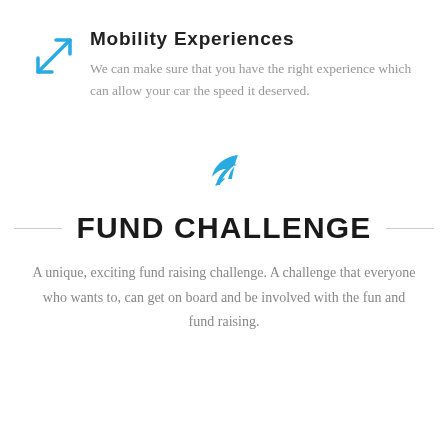Mobility Experiences
We can make sure that you have the right experience which can allow your car the speed it deserved.
[Figure (illustration): Blue leaf/feather icon centered on page]
FUND CHALLENGE
A unique, exciting fund raising challenge. A challenge that everyone who wants to, can get on board and be involved with the fun and fund raising.